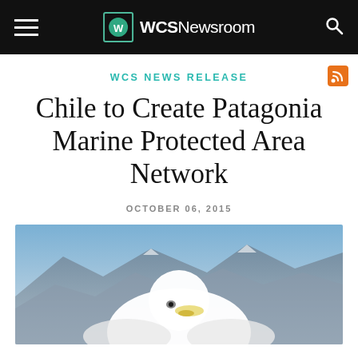WCSNewsroom
WCS NEWS RELEASE
Chile to Create Patagonia Marine Protected Area Network
OCTOBER 06, 2015
[Figure (photo): Close-up photo of a white seabird (likely an albatross) with mountains in the background, blue sky visible.]